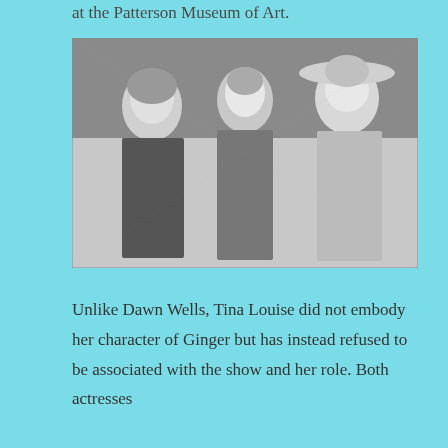at the Patterson Museum of Art.
[Figure (photo): Black and white photograph of three women, presumably from the TV show Gilligan's Island. Left woman wears a leopard print dress with a headband. Middle woman wears a dotted dress with a bow. Right woman wears a lace top and wide-brimmed straw hat.]
Unlike Dawn Wells, Tina Louise did not embody her character of Ginger but has instead refused to be associated with the show and her role. Both actresses